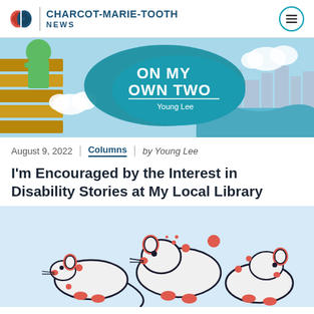CHARCOT-MARIE-TOOTH NEWS
[Figure (illustration): Banner image for 'On My Own Two' column by Young Lee, showing a teal blob shape with white bold text 'ON MY OWN TWO' and 'Young Lee' subtitle, with illustrated background of wooden structure and city skyline with clouds]
August 9, 2022 | Columns | by Young Lee
I'm Encouraged by the Interest in Disability Stories at My Local Library
[Figure (illustration): Cartoon illustration of white mice with red ears and red dot accents on a light blue background, depicting mice interacting with each other]